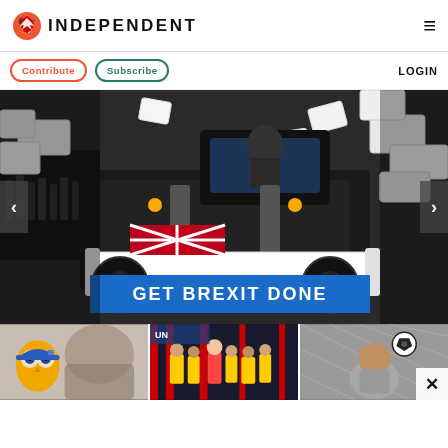INDEPENDENT
Contribute | Subscribe | LOGIN
[Figure (photo): A bulldozer/JCB with 'GET BREXIT DONE' text on its blade crashing through a mock foam brick wall in an industrial setting, with a figure in the cab. Navigation arrows on left and right.]
[Figure (photo): Three thumbnail images at the bottom: left shows an animated owl and a woman, center shows people in high-visibility jackets in a warehouse, right shows a person heading a football near a goal net.]